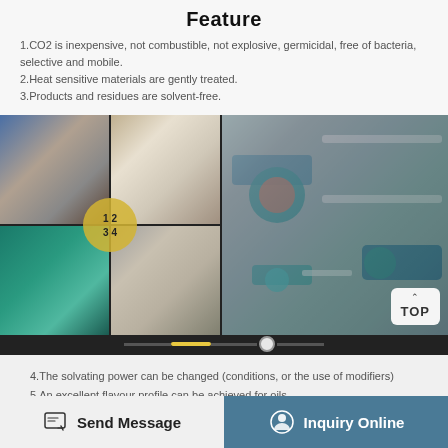Feature
1.CO2 is inexpensive, not combustible, not explosive, germicidal, free of bacteria, selective and mobile.
2.Heat sensitive materials are gently treated.
3.Products and residues are solvent-free.
[Figure (photo): Grid of four industrial equipment photos showing pump motors and pressure vessels, alongside single image of water pump assembly with piping and valves. Navigation carousel dots at bottom. TOP button overlay.]
4.The solvating power can be changed (conditions, or the use of modifiers)
5.An excellent flavour profile can be achieved for oils
Send Message
Inquiry Online